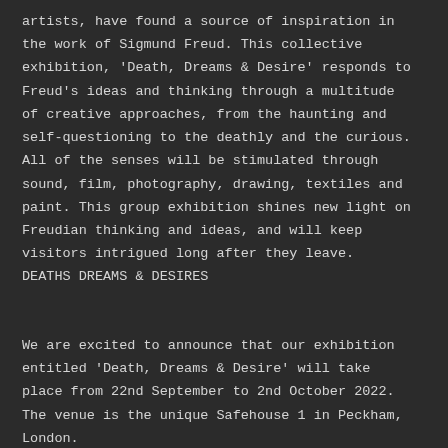artists, have found a source of inspiration in the work of Sigmund Freud. This collective exhibition, 'Death, Dreams & Desire' responds to Freud's ideas and thinking through a multitude of creative approaches, from the haunting and self-questioning to the deathly and the curious. All of the senses will be stimulated through sound, film, photography, drawing, textiles and paint. This group exhibition shines new light on Freudian thinking and ideas, and will keep visitors intrigued long after they leave.
DEATHS DREAMS & DESIRES
We are excited to announce that our exhibition entitled 'Death, Dreams & Desire' will take place from 22nd September to 2nd October 2022. The venue is the unique Safehouse 1 in Peckham, London.